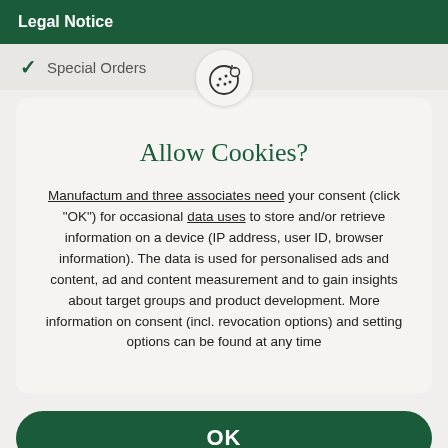Legal Notice
Special Orders
[Figure (illustration): Cookie icon (cookie with bite taken out) inside a light circular badge]
Allow Cookies?
Manufactum and three associates need your consent (click "OK") for occasional data uses to store and/or retrieve information on a device (IP address, user ID, browser information). The data is used for personalised ads and content, ad and content measurement and to gain insights about target groups and product development. More information on consent (incl. revocation options) and setting options can be found at any time
OK
Reject Cookies
More information